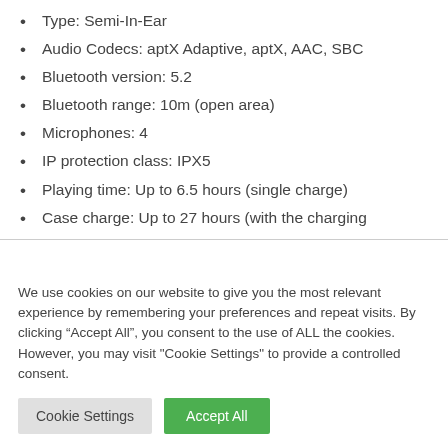Type: Semi-In-Ear
Audio Codecs: aptX Adaptive, aptX, AAC, SBC
Bluetooth version: 5.2
Bluetooth range: 10m (open area)
Microphones: 4
IP protection class: IPX5
Playing time: Up to 6.5 hours (single charge)
Case charge: Up to 27 hours (with the charging
We use cookies on our website to give you the most relevant experience by remembering your preferences and repeat visits. By clicking “Accept All”, you consent to the use of ALL the cookies. However, you may visit "Cookie Settings" to provide a controlled consent.